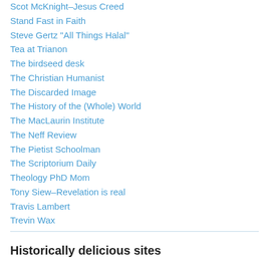Scot McKnight–Jesus Creed
Stand Fast in Faith
Steve Gertz "All Things Halal"
Tea at Trianon
The birdseed desk
The Christian Humanist
The Discarded Image
The History of the (Whole) World
The MacLaurin Institute
The Neff Review
The Pietist Schoolman
The Scriptorium Daily
Theology PhD Mom
Tony Siew–Revelation is real
Travis Lambert
Trevin Wax
Historically delicious sites